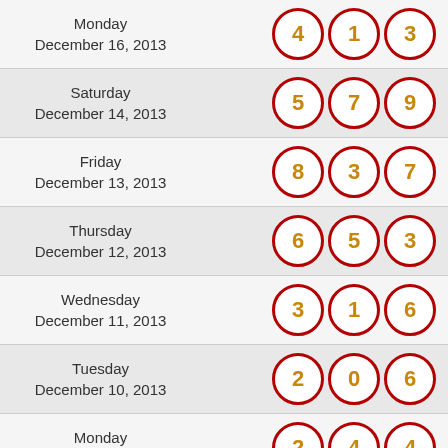Monday December 16, 2013 — 4, 1, 3
Saturday December 14, 2013 — 5, 7, 9
Friday December 13, 2013 — 8, 3, 7
Thursday December 12, 2013 — 6, 5, 3
Wednesday December 11, 2013 — 3, 1, 6
Tuesday December 10, 2013 — 2, 0, 6
Monday December 9, 2013 — 2, 4, 4
Saturday December 7, 2013 — 2, 7, 6